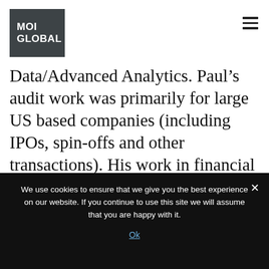[Figure (logo): MOI Global logo — dark grey square with white bold text 'MOI GLOBAL']
Data/Advanced Analytics. Paul’s audit work was primarily for large US based companies (including IPOs, spin-offs and other transactions). His work in financial due diligence was focused on assisting major private equity firms in their valuation of businesses based on recurring “owner’s earnings”. He graduated Summa Cum Laude from the University of San
We use cookies to ensure that we give you the best experience on our website. If you continue to use this site we will assume that you are happy with it.
Ok